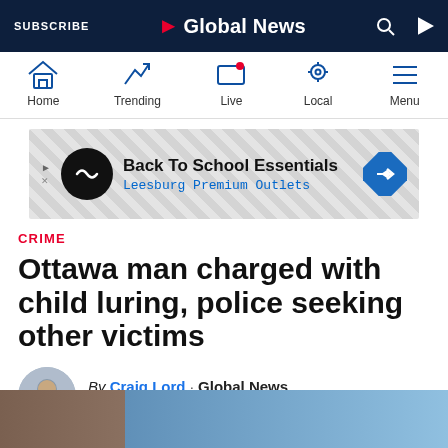SUBSCRIBE | Global News
[Figure (screenshot): Navigation icon bar with Home, Trending, Live, Local, Menu icons]
[Figure (screenshot): Advertisement banner: Back To School Essentials, Leesburg Premium Outlets]
CRIME
Ottawa man charged with child luring, police seeking other victims
By Craig Lord · Global News
Posted August 19, 2021 2:46 pm
[Figure (photo): Partial photo of a building against blue sky at bottom of page]